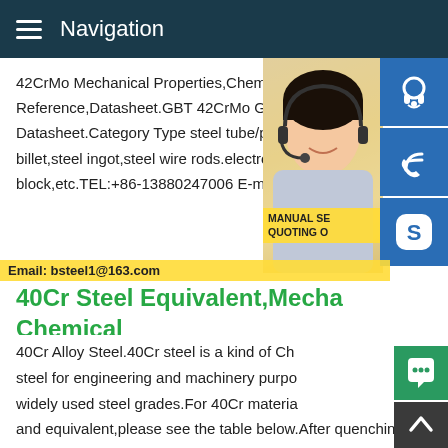Navigation
42CrMo Mechanical Properties,Chemical Reference,Datasheet.GBT 42CrMo GBT 4 Datasheet.Category Type steel tube/pipe,s billet,steel ingot,steel wire rods.electroslag block,etc.TEL:+86-13880247006 E-mail [e
[Figure (photo): Customer service representative (woman with headset) with contact icons on the right side including headset icon, phone icon, and Skype icon. Yellow overlay with text 'MANUAL SERVICE QUOTING O' and 'Email: bsteel1@163.com']
40Cr Steel Equivalent,Mecha Chemical
40Cr Alloy Steel.40Cr steel is a kind of Ch steel for engineering and machinery purpo widely used steel grades.For 40Cr materia and equivalent,please see the table below.After quenching and tempering treatment,40Cr steel has good comprehensive mechanical properties,low temperature impact toughness,low 12345NextVideos of 42CrMo mechanical tube Watch video on Vimeo0:25600Ton E200P Hydraulic CNC Press Brake-Tanden 300ton Bending Machin12 viewsOct 19,2017Vimeovne IsoSq